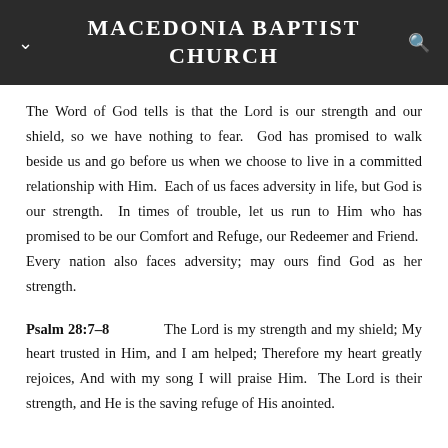MACEDONIA BAPTIST CHURCH
The Word of God tells is that the Lord is our strength and our shield, so we have nothing to fear.  God has promised to walk beside us and go before us when we choose to live in a committed relationship with Him.  Each of us faces adversity in life, but God is our strength.  In times of trouble, let us run to Him who has promised to be our Comfort and Refuge, our Redeemer and Friend.  Every nation also faces adversity; may ours find God as her strength.
Psalm 28:7–8    The Lord is my strength and my shield; My heart trusted in Him, and I am helped; Therefore my heart greatly rejoices, And with my song I will praise Him.  The Lord is their strength, and He is the saving refuge of His anointed.